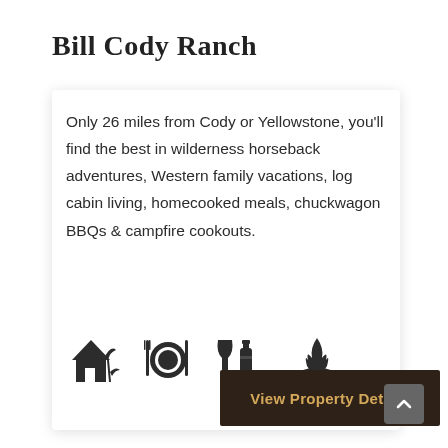Bill Cody Ranch
Only 26 miles from Cody or Yellowstone, you’ll find the best in wilderness horseback adventures, Western family vacations, log cabin living, homecooked meals, chuckwagon BBQs & campfire cookouts.
[Figure (illustration): Four icons: a house/cabin with a plant, a plate with fork and knife, a wine glass and bottle, and a campfire on logs]
View Property Details